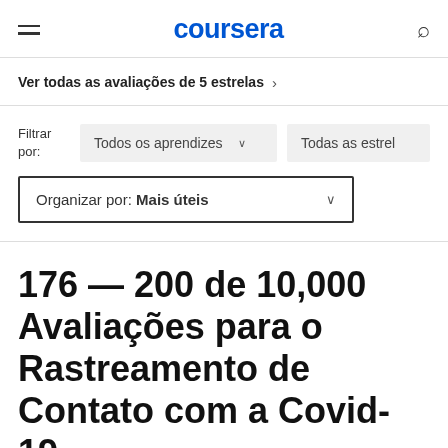coursera
Ver todas as avaliações de 5 estrelas >
Filtrar por: Todos os aprendizes   Todas as estrel
Organizar por: Mais úteis
176 — 200 de 10,000 Avaliações para o Rastreamento de Contato com a Covid-19